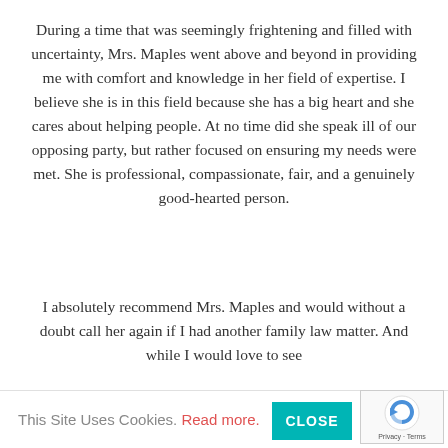During a time that was seemingly frightening and filled with uncertainty, Mrs. Maples went above and beyond in providing me with comfort and knowledge in her field of expertise. I believe she is in this field because she has a big heart and she cares about helping people. At no time did she speak ill of our opposing party, but rather focused on ensuring my needs were met. She is professional, compassionate, fair, and a genuinely good-hearted person.
I absolutely recommend Mrs. Maples and would without a doubt call her again if I had another family law matter. And while I would love to see ... eed her
This Site Uses Cookies. Read more. CLOSE